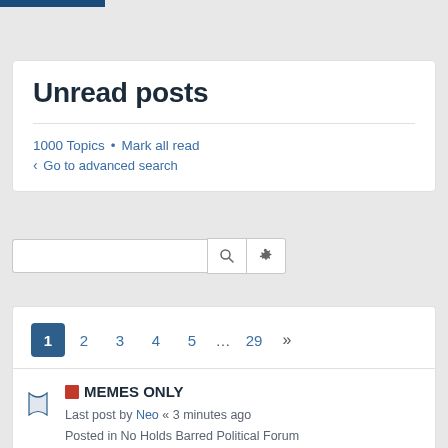Unread posts
1000 Topics • Mark all read
‹ Go to advanced search
[Figure (screenshot): Search input box with magnifying glass button and gear/settings button]
1 2 3 4 5 … 29 »
🔖 MEMES ONLY
Last post by Neo « 3 minutes ago
Posted in No Holds Barred Political Forum
replies: 718